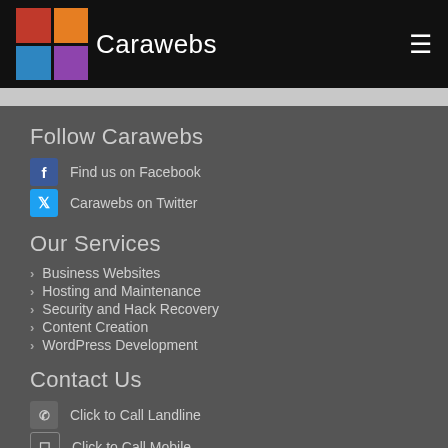Carawebs
Follow Carawebs
Find us on Facebook
Carawebs on Twitter
Our Services
Business Websites
Hosting and Maintenance
Security and Hack Recovery
Content Creation
WordPress Development
Contact Us
Click to Call Landline
Click to Call Mobile